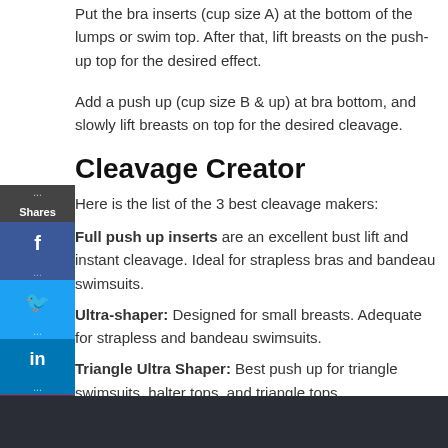Put the bra inserts (cup size A) at the bottom of the lumps or swim top. After that, lift breasts on the push-up top for the desired effect.
Add a push up (cup size B & up) at bra bottom, and slowly lift breasts on top for the desired cleavage.
Cleavage Creator
Here is the list of the 3 best cleavage makers:
Full push up inserts are an excellent bust lift and instant cleavage. Ideal for strapless bras and bandeau swimsuits.
Ultra-shaper: Designed for small breasts. Adequate for strapless and bandeau swimsuits.
Triangle Ultra Shaper: Best push up for triangle swimsuits, halter tops, and triangle tops.